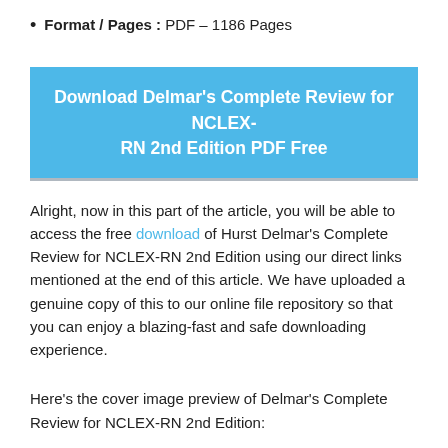Format / Pages : PDF – 1186 Pages
Download Delmar's Complete Review for NCLEX-RN 2nd Edition PDF Free
Alright, now in this part of the article, you will be able to access the free download of Hurst Delmar's Complete Review for NCLEX-RN 2nd Edition using our direct links mentioned at the end of this article. We have uploaded a genuine copy of this to our online file repository so that you can enjoy a blazing-fast and safe downloading experience.
Here's the cover image preview of Delmar's Complete Review for NCLEX-RN 2nd Edition: